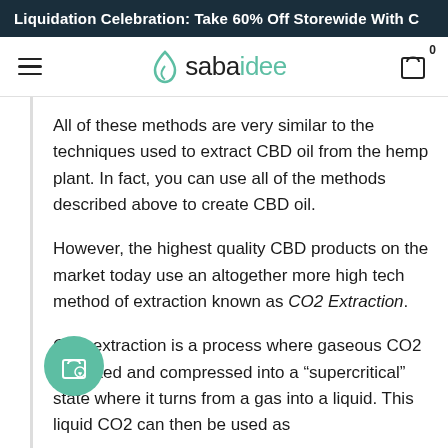Liquidation Celebration: Take 60% Off Storewide With C
sabaidee
All of these methods are very similar to the techniques used to extract CBD oil from the hemp plant. In fact, you can use all of the methods described above to create CBD oil.
However, the highest quality CBD products on the market today use an altogether more high tech method of extraction known as CO2 Extraction.
CO2 extraction is a process where gaseous CO2 is heated and compressed into a "supercritical" state where it turns from a gas into a liquid. This liquid CO2 can then be used as